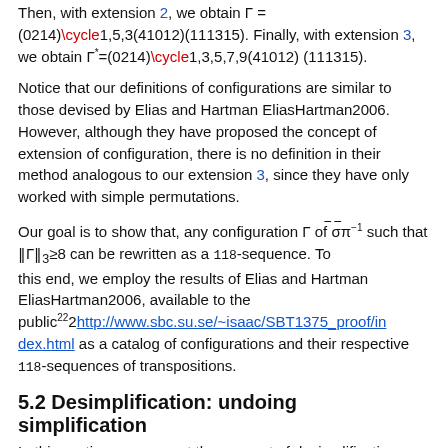Then, with extension 2, we obtain Γ = (0214)\cycle1,5,3(41012)(111315). Finally, with extension 3, we obtain Γ*=(0214)\cycle1,3,5,7,9(41012)(111315).
Notice that our definitions of configurations are similar to those devised by Elias and Hartman EliasHartman2006. However, although they have proposed the concept of extension of configuration, there is no definition in their method analogous to our extension 3, since they have only worked with simple permutations.
Our goal is to show that, any configuration Γ of ¯σ¯π⁻¹ such that ||Γ||₃≥8 can be rewritten as a 118-sequence. To this end, we employ the results of Elias and Hartman EliasHartman2006, available to the public²²2http://www.sbc.su.se/~isaac/SBT1375_proof/index.html as a catalog of configurations and their respective 118-sequences of transpositions.
5.2 Desimplification: undoing simplification
In this section, we present the concept of desimplification...